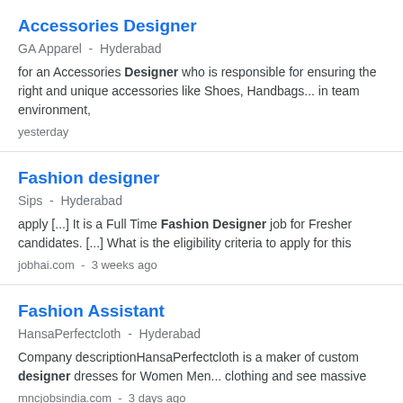Accessories Designer
GA Apparel  -  Hyderabad
for an Accessories Designer who is responsible for ensuring the right and unique accessories like Shoes, Handbags... in team environment,
yesterday
Fashion designer
Sips  -  Hyderabad
apply [...] It is a Full Time Fashion Designer job for Fresher candidates. [...] What is the eligibility criteria to apply for this
jobhai.com  -  3 weeks ago
Fashion Assistant
HansaPerfectcloth  -  Hyderabad
Company descriptionHansaPerfectcloth is a maker of custom designer dresses for Women Men... clothing and see massive
mncjobsindia.com  -  3 days ago